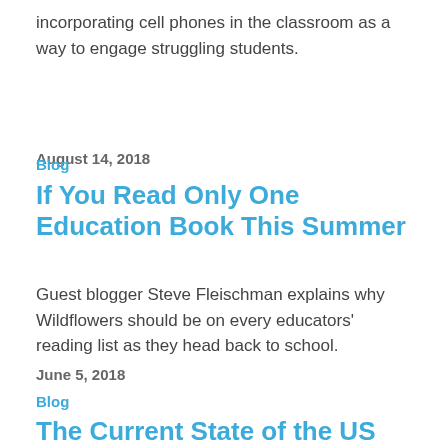incorporating cell phones in the classroom as a way to engage struggling students.
August 14, 2018
Blog
If You Read Only One Education Book This Summer
Guest blogger Steve Fleischman explains why Wildflowers should be on every educators' reading list as they head back to school.
June 5, 2018
Blog
The Current State of the US